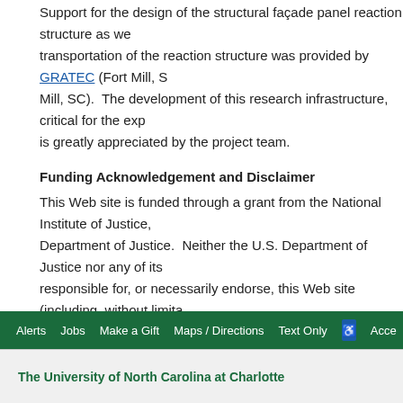Support for the design of the structural façade panel reaction structure as well as transportation of the reaction structure was provided by GRATEC (Fort Mill, SC; Fort Mill, SC).  The development of this research infrastructure, critical for the experiment, is greatly appreciated by the project team.
Funding Acknowledgement and Disclaimer
This Web site is funded through a grant from the National Institute of Justice, U.S. Department of Justice.  Neither the U.S. Department of Justice nor any of its components is responsible for, or necessarily endorse, this Web site (including, without limitation, its content, policies, and any services or tools provided).
Alerts  Jobs  Make a Gift  Maps / Directions  Text Only  Accessibility
The University of North Carolina at Charlotte